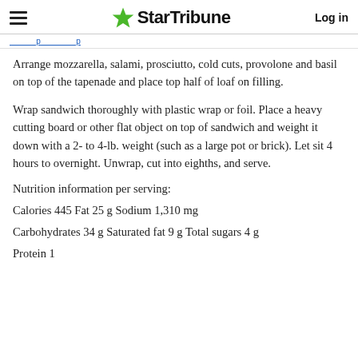StarTribune  Log in
Arrange mozzarella, salami, prosciutto, cold cuts, provolone and basil on top of the tapenade and place top half of loaf on filling.
Wrap sandwich thoroughly with plastic wrap or foil. Place a heavy cutting board or other flat object on top of sandwich and weight it down with a 2- to 4-lb. weight (such as a large pot or brick). Let sit 4 hours to overnight. Unwrap, cut into eighths, and serve.
Nutrition information per serving:
Calories 445 Fat 25 g Sodium 1,310 mg
Carbohydrates 34 g Saturated fat 9 g Total sugars 4 g
Protein 1